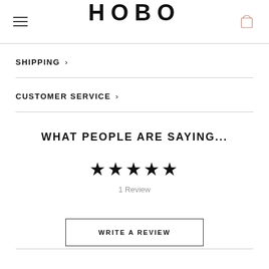HOBO
SHIPPING
CUSTOMER SERVICE
WHAT PEOPLE ARE SAYING...
[Figure (other): 5 filled black stars rating display]
1 Review
WRITE A REVIEW